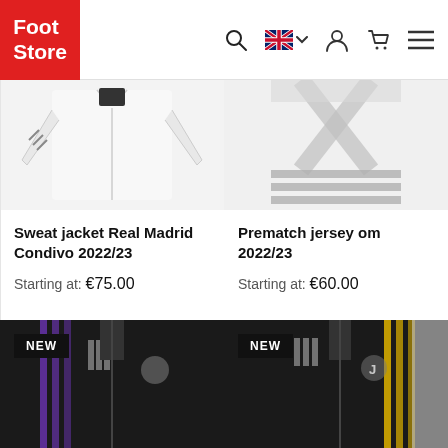Foot Store — navigation header with search, language selector, user account, cart, and menu icons
[Figure (photo): White long-sleeve sweat jacket Real Madrid Condivo 2022/23 — top portion visible]
Sweat jacket Real Madrid Condivo 2022/23
Starting at: €75.00
[Figure (photo): White prematch jersey with grey geometric pattern, Prematch jersey om 2022/23 — top portion visible]
Prematch jersey om 2022/23
Starting at: €60.00
[Figure (photo): NEW badge — Black Adidas Real Madrid training jacket with purple stripe details, bottom portion visible]
[Figure (photo): NEW badge — Black Adidas Juventus training jacket with yellow stripe details, bottom portion visible]